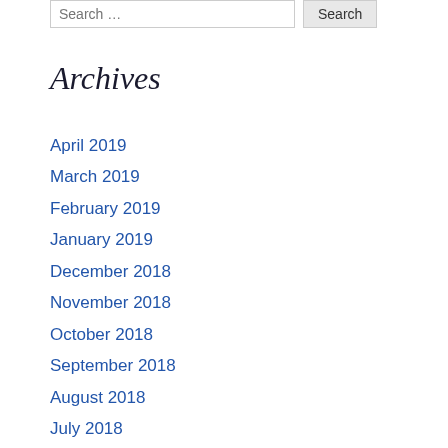Archives
April 2019
March 2019
February 2019
January 2019
December 2018
November 2018
October 2018
September 2018
August 2018
July 2018
June 2018
April 2018
March 2018